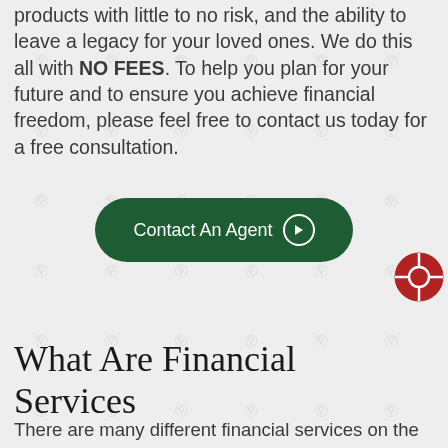products with little to no risk, and the ability to leave a legacy for your loved ones. We do this all with NO FEES. To help you plan for your future and to ensure you achieve financial freedom, please feel free to contact us today for a free consultation.
[Figure (other): Dark green rounded pill-shaped button with white text reading 'Contact An Agent' with a right-arrow circle icon]
[Figure (other): Red circular help/support icon with white crosshair symbol, positioned on the right side]
What Are Financial Services
There are many different financial services on the market. For example, you could invest in an